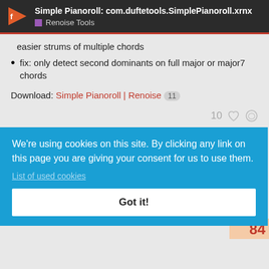Simple Pianoroll: com.duftetools.SimplePianoroll.xrnx
Renoise Tools
easier strums of multiple chords
fix: only detect second dominants on full major or major7 chords
Download: Simple Pianoroll | Renoise 11
10 [like] [link]
Jul 10
We're using cookies on this site. By clicking any link on this page you are giving your consent for us to use them.
List of used cookies
Got it!
no.
yboard /
eleasin
nidi ke
d
84